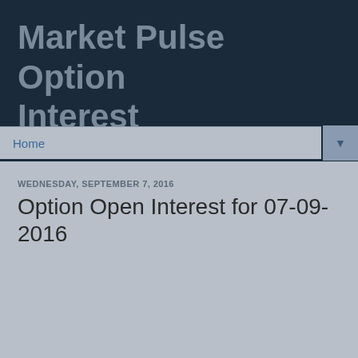Market Pulse Option Interest
Home
WEDNESDAY, SEPTEMBER 7, 2016
Option Open Interest for 07-09-2016